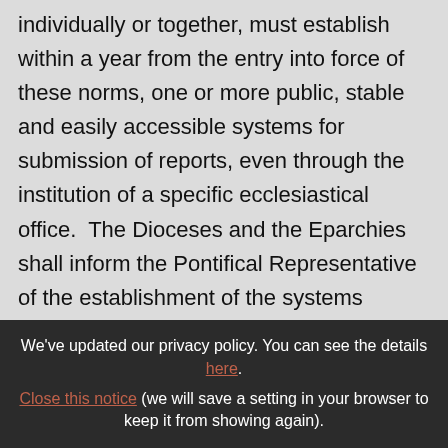individually or together, must establish within a year from the entry into force of these norms, one or more public, stable and easily accessible systems for submission of reports, even through the institution of a specific ecclesiastical office.  The Dioceses and the Eparchies shall inform the Pontifical Representative of the establishment of the systems referred to in this paragraph.

§2. The information referred to in this article is
We've updated our privacy policy. You can see the details here. Close this notice (we will save a setting in your browser to keep it from showing again).